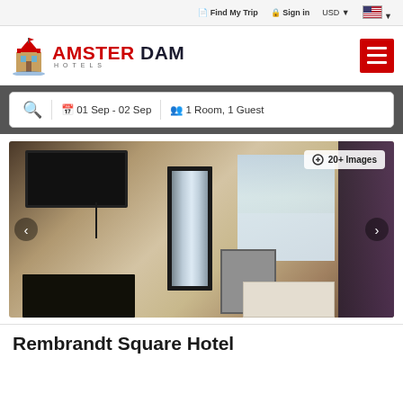Find My Trip  Sign in  USD  [flag]
[Figure (logo): Amsterdam Hotels logo with cartoon Dutch building icon, red AMSTERDAM HOTELS text]
01 Sep - 02 Sep  1 Room, 1 Guest
[Figure (photo): Hotel room interior showing dark TV on wall, tall mirror, window with curtains, dresser, and bed. Badge reads 20+ Images.]
Rembrandt Square Hotel